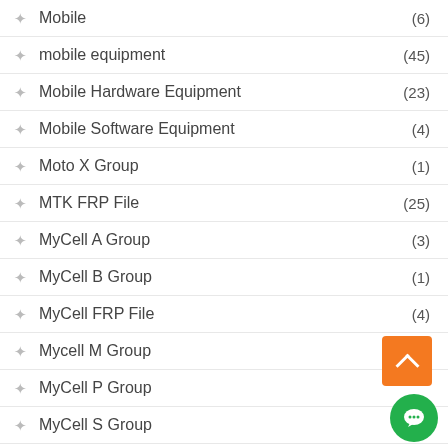Mobile (6)
mobile equipment (45)
Mobile Hardware Equipment (23)
Mobile Software Equipment (4)
Moto X Group (1)
MTK FRP File (25)
MyCell A Group (3)
MyCell B Group (1)
MyCell FRP File (4)
Mycell M Group (2)
MyCell P Group
MyCell S Group (4)